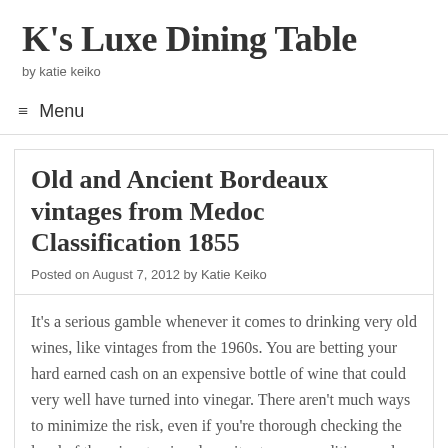K's Luxe Dining Table
by katie keiko
≡ Menu
Old and Ancient Bordeaux vintages from Medoc Classification 1855
Posted on August 7, 2012 by Katie Keiko
It's a serious gamble whenever it comes to drinking very old wines, like vintages from the 1960s. You are betting your hard earned cash on an expensive bottle of wine that could very well have turned into vinegar. There aren't much ways to minimize the risk, even if you're thorough checking the level of the wine, tracing down its storage condition, and etc. But if you are lucky enough to get hold of a healthy bottle of great old vintage, be prepared to be rewarded with an